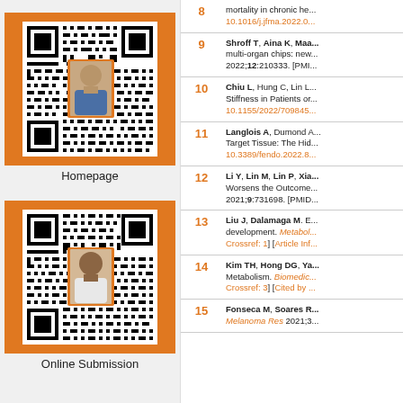[Figure (other): QR code with author photo on orange background, linking to journal homepage]
Homepage
[Figure (other): QR code with author photo on orange background, linking to online submission]
Online Submission
| # | Reference |
| --- | --- |
| 8 | mortality in chronic he... 10.1016/j.jfma.2022.0... |
| 9 | Shroff T, Aina K, Maa... multi-organ chips: new... 2022;12:210333. [PMI... |
| 10 | Chiu L, Hung C, Lin L... Stiffness in Patients or... 10.1155/2022/709845... |
| 11 | Langlois A, Dumond A... Target Tissue: The Hid... 10.3389/fendo.2022.8... |
| 12 | Li Y, Lin M, Lin P, Xia... Worsens the Outcome... 2021;9:731698. [PMID... |
| 13 | Liu J, Dalamaga M. E... development. Metabol... Crossref: 1] [Article Inf... |
| 14 | Kim TH, Hong DG, Ya... Metabolism. Biomedic... Crossref: 3] [Cited by ... |
| 15 | Fonseca M, Soares R... Melanoma Res 2021;3... |